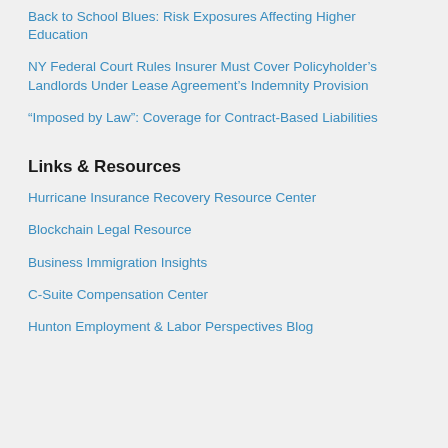Back to School Blues: Risk Exposures Affecting Higher Education
NY Federal Court Rules Insurer Must Cover Policyholder’s Landlords Under Lease Agreement’s Indemnity Provision
“Imposed by Law”: Coverage for Contract-Based Liabilities
Links & Resources
Hurricane Insurance Recovery Resource Center
Blockchain Legal Resource
Business Immigration Insights
C-Suite Compensation Center
Hunton Employment & Labor Perspectives Blog